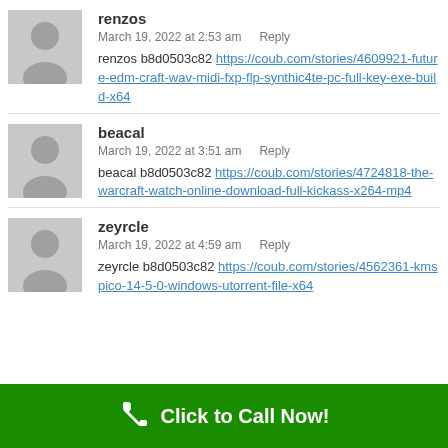renzos
March 19, 2022 at 2:53 am   Reply
renzos b8d0503c82 https://coub.com/stories/4609921-future-edm-craft-wav-midi-fxp-flp-synthic4te-pc-full-key-exe-build-x64
beacal
March 19, 2022 at 3:51 am   Reply
beacal b8d0503c82 https://coub.com/stories/4724818-the-warcraft-watch-online-download-full-kickass-x264-mp4
zeyrcle
March 19, 2022 at 4:59 am   Reply
zeyrcle b8d0503c82 https://coub.com/stories/4562361-kmspico-14-5-0-windows-utorrent-file-x64
Click to Call Now!